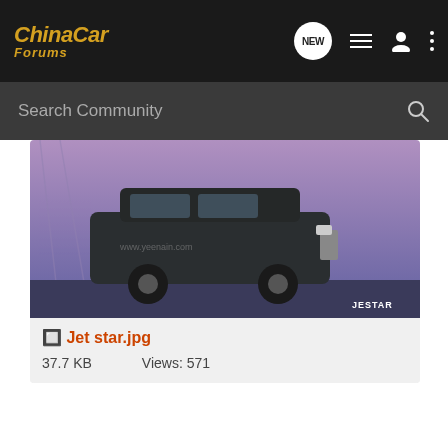ChinaCar Forums
Search Community
[Figure (photo): Black SUV (Jestar branded) on a purple-toned bridge background; labeled JESTAR in lower right]
🔲 Jet star.jpg
37.7 KB   Views: 571
Jason Zhang
fm.illuminatus · Registered
Joined Mar 24, 2006 · 111 Posts